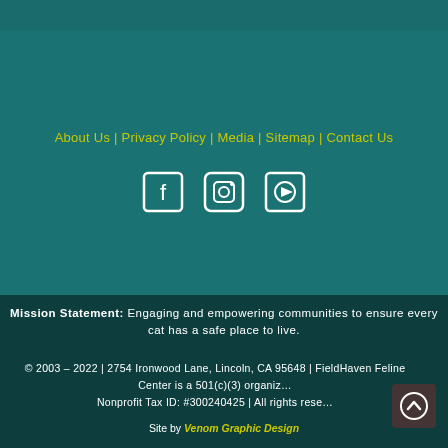About Us | Privacy Policy | Media | Sitemap | Contact Us
[Figure (other): Social media icons: Facebook, Instagram, YouTube]
Mission Statement: Engaging and empowering communities to ensure every cat has a safe place to live.
© 2003 – 2022 | 2754 Ironwood Lane, Lincoln, CA 95648 | FieldHaven Feline Center is a 501(c)(3) organiz… Nonprofit Tax ID: #300240425 | All rights rese…
Site by Venom Graphic Design